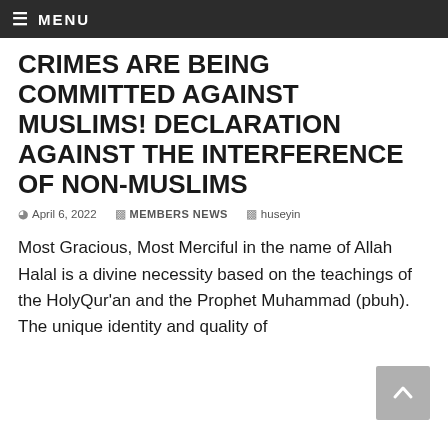≡ MENU
CRIMES ARE BEING COMMITTED AGAINST MUSLIMS! DECLARATION AGAINST THE INTERFERENCE OF NON-MUSLIMS
April 6, 2022   MEMBERS NEWS   huseyin
Most Gracious, Most Merciful in the name of Allah Halal is a divine necessity based on the teachings of the HolyQur'an and the Prophet Muhammad (pbuh). The unique identity and quality of